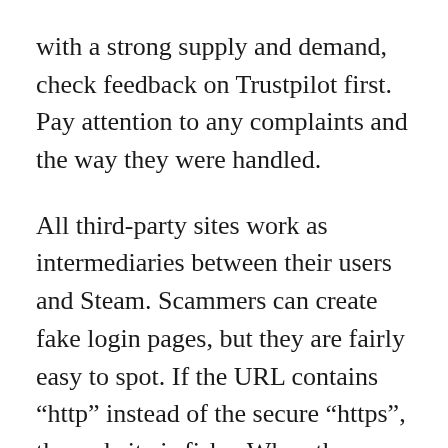with a strong supply and demand, check feedback on Trustpilot first. Pay attention to any complaints and the way they were handled.
All third-party sites work as intermediaries between their users and Steam. Scammers can create fake login pages, but they are fairly easy to spot. If the URL contains “http” instead of the secure “https”, the website is fishy. When the connection is secure, the address bar includes a green padlock icon.
Selling Skins on DMarket